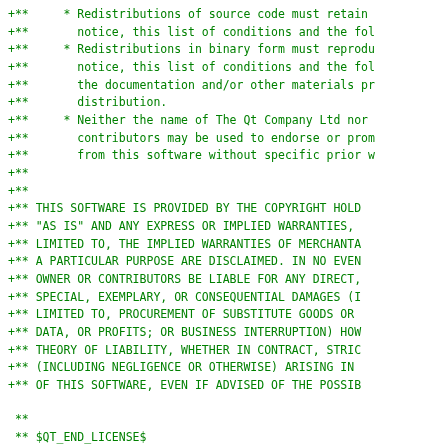+**     * Redistributions of source code must retain
+**       notice, this list of conditions and the fol
+**     * Redistributions in binary form must reprodu
+**       notice, this list of conditions and the fol
+**       the documentation and/or other materials pr
+**       distribution.
+**     * Neither the name of The Qt Company Ltd nor
+**       contributors may be used to endorse or prom
+**       from this software without specific prior w
+**
+**
+** THIS SOFTWARE IS PROVIDED BY THE COPYRIGHT HOLD
+** "AS IS" AND ANY EXPRESS OR IMPLIED WARRANTIES,
+** LIMITED TO, THE IMPLIED WARRANTIES OF MERCHANTA
+** A PARTICULAR PURPOSE ARE DISCLAIMED. IN NO EVEN
+** OWNER OR CONTRIBUTORS BE LIABLE FOR ANY DIRECT,
+** SPECIAL, EXEMPLARY, OR CONSEQUENTIAL DAMAGES (I
+** LIMITED TO, PROCUREMENT OF SUBSTITUTE GOODS OR
+** DATA, OR PROFITS; OR BUSINESS INTERRUPTION) HOW
+** THEORY OF LIABILITY, WHETHER IN CONTRACT, STRIC
+** (INCLUDING NEGLIGENCE OR OTHERWISE) ARISING IN
+** OF THIS SOFTWARE, EVEN IF ADVISED OF THE POSSIB
 **
 ** $QT_END_LICENSE$
 **
diff --git a/examples/qt3d/scene3d/main.cpp b/examp
index 0ed21fd88..8886263f4 100644
--- a/examples/qt3d/scene3d/main.cpp
+++ b/examples/qt3d/scene3d/main.cpp